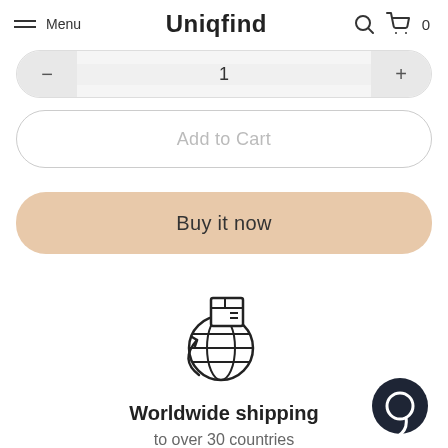Menu | Uniqfind | 0
1
Add to Cart
Buy it now
[Figure (illustration): Globe with a package box icon representing worldwide shipping]
Worldwide shipping
to over 30 countries
[Figure (illustration): Dark circular chat bubble widget in bottom-right corner]